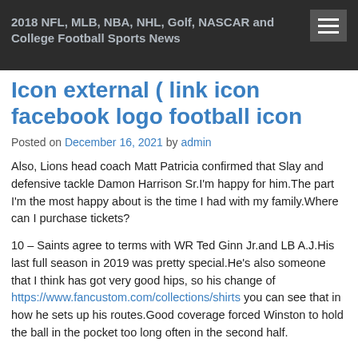2018 NFL, MLB, NBA, NHL, Golf, NASCAR and College Football Sports News
Icon external ( link icon facebook logo football icon
Posted on December 16, 2021 by admin
Also, Lions head coach Matt Patricia confirmed that Slay and defensive tackle Damon Harrison Sr.I'm happy for him.The part I'm the most happy about is the time I had with my family.Where can I purchase tickets?
10 – Saints agree to terms with WR Ted Ginn Jr.and LB A.J.His last full season in 2019 was pretty special.He's also someone that I think has got very good hips, so his change of https://www.fancustom.com/collections/shirts you can see that in how he sets up his routes.Good coverage forced Winston to hold the ball in the pocket too long often in the second half.